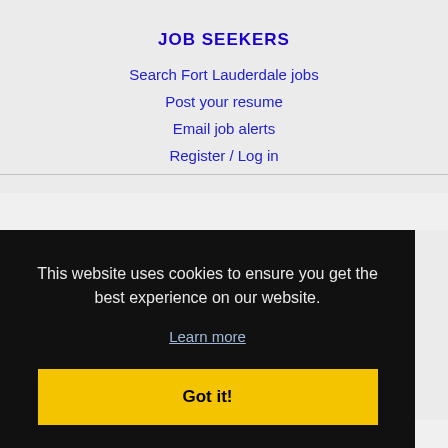JOB SEEKERS
Search Fort Lauderdale jobs
Post your resume
Email job alerts
Register / Log in
This website uses cookies to ensure you get the best experience on our website.
Learn more
Got it!
IMMIGRATION SPECIALISTS